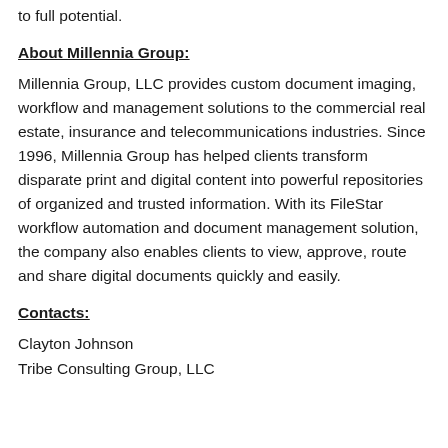to full potential.
About Millennia Group:
Millennia Group, LLC provides custom document imaging, workflow and management solutions to the commercial real estate, insurance and telecommunications industries. Since 1996, Millennia Group has helped clients transform disparate print and digital content into powerful repositories of organized and trusted information. With its FileStar workflow automation and document management solution, the company also enables clients to view, approve, route and share digital documents quickly and easily.
Contacts:
Clayton Johnson
Tribe Consulting Group, LLC